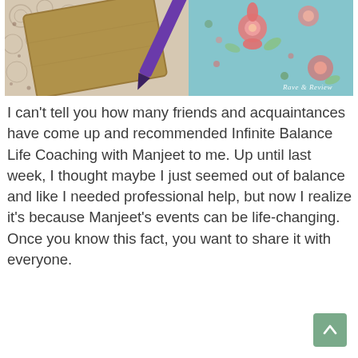[Figure (photo): Photo of a brown kraft notebook with a purple pen resting on it, placed on a white lace doily with blue floral fabric in the background. Watermark reads 'Rave & Review' in bottom right corner.]
I can't tell you how many friends and acquaintances have come up and recommended Infinite Balance Life Coaching with Manjeet to me. Up until last week, I thought maybe I just seemed out of balance and like I needed professional help, but now I realize it's because Manjeet's events can be life-changing. Once you know this fact, you want to share it with everyone.